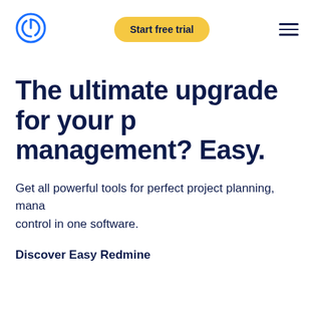[Figure (logo): Blue circular logo with a half-circle power/toggle icon inside]
Start free trial
[Figure (other): Hamburger menu icon — three horizontal lines]
The ultimate upgrade for your p management? Easy.
Get all powerful tools for perfect project planning, mana control in one software.
Discover Easy Redmine